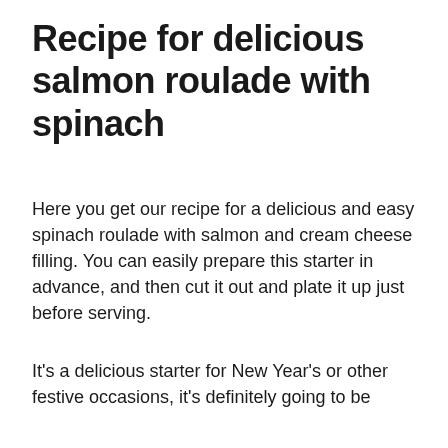Recipe for delicious salmon roulade with spinach
Here you get our recipe for a delicious and easy spinach roulade with salmon and cream cheese filling. You can easily prepare this starter in advance, and then cut it out and plate it up just before serving.
It's a delicious starter for New Year's or other festive occasions, it's definitely going to be